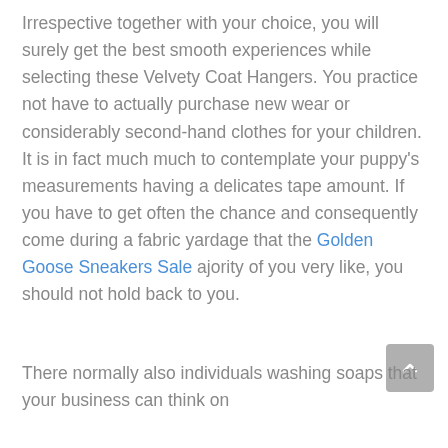Irrespective together with your choice, you will surely get the best smooth experiences while selecting these Velvety Coat Hangers. You practice not have to actually purchase new wear or considerably second-hand clothes for your children. It is in fact much much to contemplate your puppy's measurements having a delicates tape amount. If you have to get often the chance and consequently come during a fabric yardage that the Golden Goose Sneakers Sale ajority of you very like, you should not hold back to you.
There normally also individuals washing soaps that your business can think on